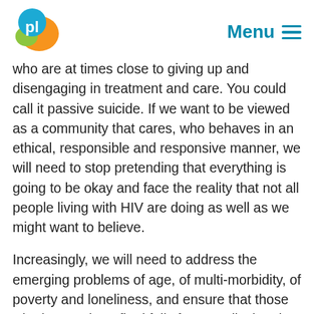pl | Menu
who are at times close to giving up and disengaging in treatment and care. You could call it passive suicide. If we want to be viewed as a community that cares, who behaves in an ethical, responsible and responsive manner, we will need to stop pretending that everything is going to be okay and face the reality that not all people living with HIV are doing as well as we might want to believe.
Increasingly, we will need to address the emerging problems of age, of multi-morbidity, of poverty and loneliness, and ensure that those who haven't benefited fully from medical and economic progress, get at least some acknowledgment and support to